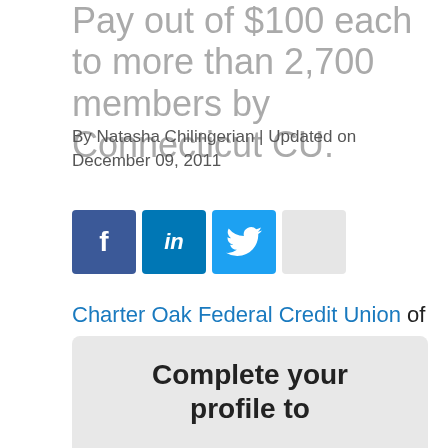Pay out of $100 each to more than 2,700 members by Connecticut CU.
By Natasha Chilingerian | Updated on December 09, 2011
[Figure (other): Social media share buttons: Facebook (f), LinkedIn (in), Twitter (bird icon), and one unlabeled grey button]
Charter Oak Federal Credit Union of Groton, Conn. has distributed a cash bonus totaling more than $270,000 to members of its Gold Rewards Program, the $684 million CU said.
Complete your profile to